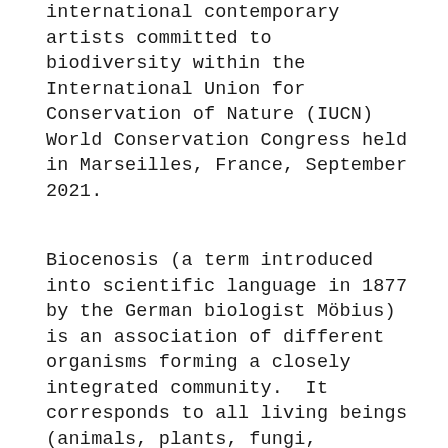international contemporary artists committed to biodiversity within the International Union for Conservation of Nature (IUCN) World Conservation Congress held in Marseilles, France, September 2021.
Biocenosis (a term introduced into scientific language in 1877 by the German biologist Möbius) is an association of different organisms forming a closely integrated community.  It corresponds to all living beings (animals, plants, fungi, bacteria, etc.) established in the same living space and linked by reciprocal dependence. At a time when biodiversity is collapsing in the face of the destruction of natural spaces and global warming, Art of Change 21 was activating an artistic biocenosis around the challenges of the 21st century. Together, the artists form a community to provoke emotions, exchanges, ideas and engagement.